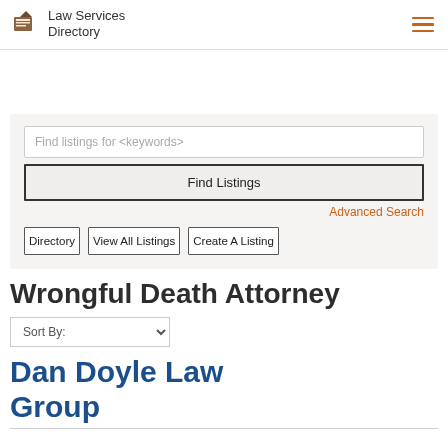Law Services Directory
Find listings for <keywords>
Find Listings
Advanced Search
Directory
View All Listings
Create A Listing
Wrongful Death Attorney
Sort By:
Dan Doyle Law Group